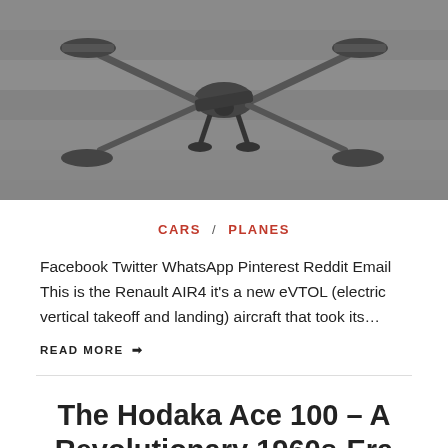[Figure (photo): Black and white overhead photograph of a drone/eVTOL aircraft with extended arms and rotors, sitting on a wooden deck surface.]
CARS / PLANES
Facebook Twitter WhatsApp Pinterest Reddit Email This is the Renault AIR4 it's a new eVTOL (electric vertical takeoff and landing) aircraft that took its…
READ MORE ➡
The Hodaka Ace 100 – A Revolutionary 1960s-Era